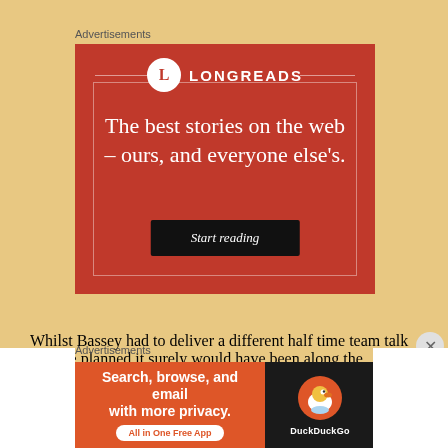Advertisements
[Figure (illustration): Longreads advertisement banner on red background. Shows Longreads logo with circle L icon at top, decorative inner border, tagline 'The best stories on the web – ours, and everyone else's.' and a black 'Start reading' button.]
Whilst Bassey had to deliver a different half time team talk than he planned it surely would have been along the
Advertisements
[Figure (illustration): DuckDuckGo advertisement. Orange left panel reads 'Search, browse, and email with more privacy.' with 'All in One Free App' pill. Dark right panel shows DuckDuckGo duck logo with DuckDuckGo text.]